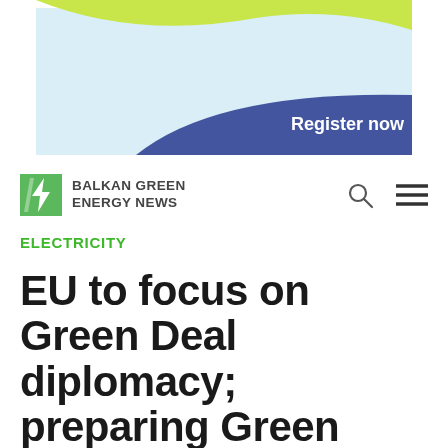[Figure (illustration): Decorative banner with light blue background, yellow-green wave shape at top, and dark blue curved shape at bottom right with white text 'Register now']
[Figure (logo): Balkan Green Energy News logo with green and white leaf/lightning bolt icon and bold text 'BALKAN GREEN ENERGY NEWS']
ELECTRICITY
EU to focus on Green Deal diplomacy; preparing Green Agenda for Western